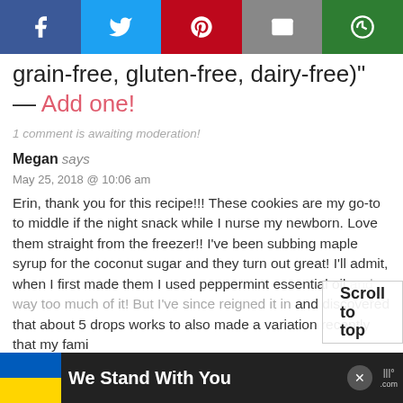[Figure (other): Social share bar with Facebook, Twitter, Pinterest, Email, and a green icon button]
grain-free, gluten-free, dairy-free)" — Add one!
1 comment is awaiting moderation!
Megan says
May 25, 2018 @ 10:06 am
Erin, thank you for this recipe!!! These cookies are my go-to to middle if the night snack while I nurse my newborn. Love them straight from the freezer!! I've been subbing maple syrup for the coconut sugar and they turn out great! I'll admit, when I first made them I used peppermint essential oil and way too much of it! But I've since reigned it in and discovered that about 5 drops works to also made a variation recently that my family
[Figure (other): Scroll to top overlay button]
[Figure (other): Bottom banner: We Stand With You with Ukraine flag colors]